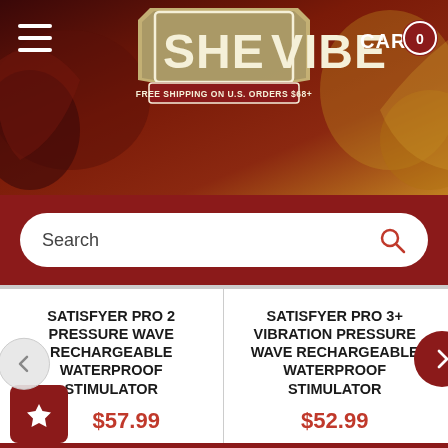[Figure (screenshot): SheVibe website header banner with logo, hamburger menu, cart, and decorative background art]
Search
CART 0
SATISFYER PRO 2 PRESSURE WAVE RECHARGEABLE WATERPROOF STIMULATOR
$57.99
SATISFYER PRO 3+ VIBRATION PRESSURE WAVE RECHARGEABLE WATERPROOF STIMULATOR
$52.99